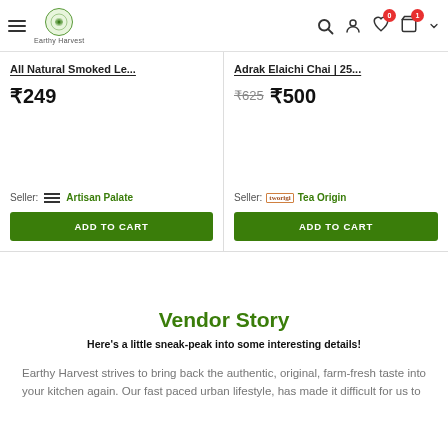Earthy Harvest — Navigation header with hamburger menu, logo, search, account, wishlist (0), cart (1), and chevron icons
All Natural Smoked Le... ₹249 Seller: Artisan Palate [ADD TO CART]
Adrak Elaichi Chai | 25... ₹625 ₹500 Seller: Tea Origin [ADD TO CART]
Vendor Story
Here's a little sneak-peak into some interesting details!
Earthy Harvest strives to bring back the authentic, original, farm-fresh taste into your kitchen again. Our fast paced urban lifestyle, has made it difficult for us to